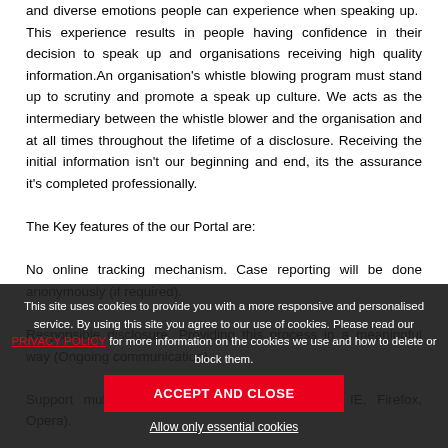and diverse emotions people can experience when speaking up. This experience results in people having confidence in their decision to speak up and organisations receiving high quality information.An organisation's whistle blowing program must stand up to scrutiny and promote a speak up culture. We acts as the intermediary between the whistle blower and the organisation and at all times throughout the lifetime of a disclosure. Receiving the initial information isn't our beginning and end, its the assurance it's completed professionally.
The Key features of the our Portal are:
No online tracking mechanism. Case reporting will be done anonymously (if required).
Responsible disclosure. Providing this process in a meaningful way (Ongoing communication).
Support multiple browsers (i.e. Safari, Chrome, IE, Firefox, Opera).
Email alerts can be configured when a new case is created and/or a change in
This site uses cookies to provide you with a more responsive and personalised service. By using this site you agree to our use of cookies. Please read our PRIVACY POLICY for more information on the cookies we use and how to delete or block them.
ACCEPT AND CLOSE
Allow only essential cookies